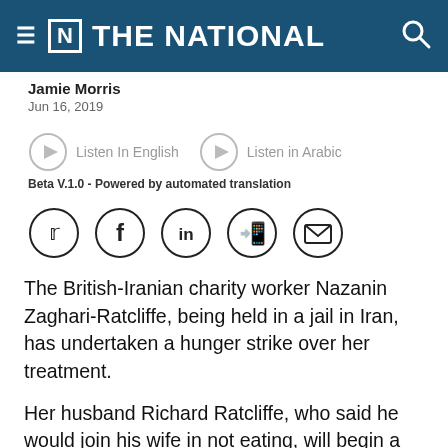THE NATIONAL
Jamie Morris
Jun 16, 2019
[Figure (other): Listen In English and Listen in Arabic audio buttons with play icons]
Beta V.1.0 - Powered by automated translation
[Figure (other): Social share icons: Twitter, Facebook, LinkedIn, WhatsApp, Email]
The British-Iranian charity worker Nazanin Zaghari-Ratcliffe, being held in a jail in Iran, has undertaken a hunger strike over her treatment.
Her husband Richard Ratcliffe, who said he would join his wife in not eating, will begin a vigil in front of the Iranian embassy in London